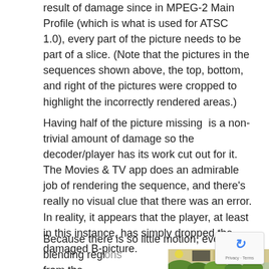result of damage since in MPEG-2 Main Profile (which is what is used for ATSC 1.0), every part of the picture needs to be part of a slice. (Note that the pictures in the sequences shown above, the top, bottom, and right of the pictures were cropped to highlight the incorrectly rendered areas.)
Having half of the picture missing  is a non-trivial amount of damage so the decoder/player has its work cut out for it. The Movies & TV app does an admirable job of rendering the sequence, and there's really no visual clue that there was an error. In reality, it appears that the player, at least in this instance, has simply dropped the damaged B-picture.
Because there is so little motion, even blending reg— from the previous
[Figure (photo): Partial photo showing a kitchen or living scene with greenery (herbs/plants) in the foreground and colorful background items; image is partially visible at the bottom right of the page.]